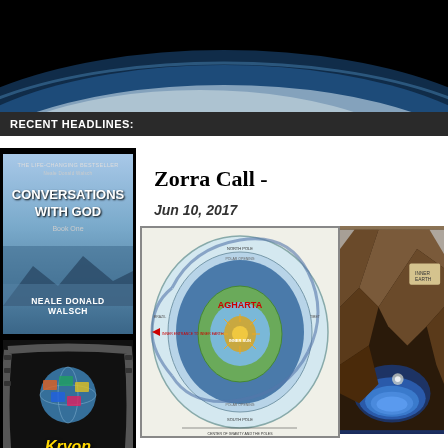[Figure (photo): Space view of Earth with horizon and cloud formations against black space background]
RECENT HEADLINES:
[Figure (photo): Book cover: Conversations with God by Neale Donald Walsch]
[Figure (photo): Kryon On Air logo/image with globe and film strip]
Zorra Call -
Jun 10, 2017
[Figure (map): Agharta inner earth map diagram showing hollow earth cross-section with labeled regions]
[Figure (photo): Cave or polar opening photograph showing rocky terrain and blue sky/water]